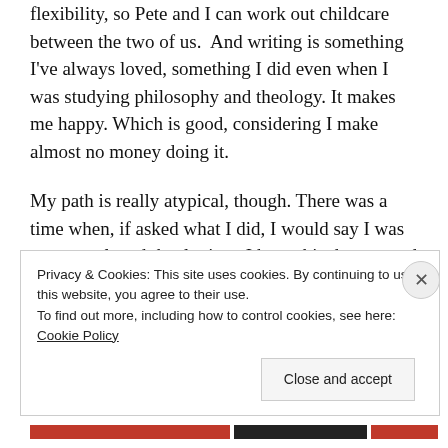flexibility, so Pete and I can work out childcare between the two of us.  And writing is something I've always loved, something I did even when I was studying philosophy and theology. It makes me happy. Which is good, considering I make almost no money doing it.

My path is really atypical, though. There was a time when, if asked what I did, I would say I was an unemployed theologian. I have this degree, and I'm not doing anything with it, right?
Privacy & Cookies: This site uses cookies. By continuing to use this website, you agree to their use.
To find out more, including how to control cookies, see here: Cookie Policy